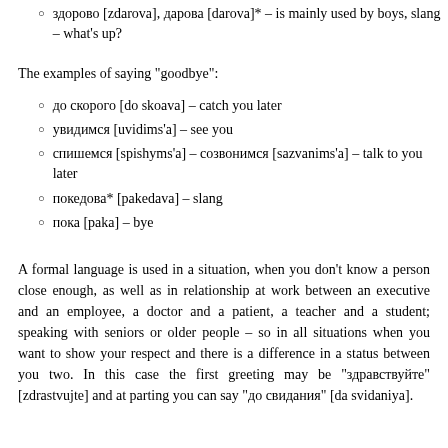здорово [zdarova], дарова [darova]* – is mainly used by boys, slang – what's up?
The examples of saying "goodbye":
до скорого [do skoava] – catch you later
увидимся [uvidims'a] – see you
спишемся [spishyms'a] – созвонимся [sazvanims'a] – talk to you later
покедова* [pakedava] – slang
пока [paka] – bye
A formal language is used in a situation, when you don't know a person close enough, as well as in relationship at work between an executive and an employee, a doctor and a patient, a teacher and a student; speaking with seniors or older people – so in all situations when you want to show your respect and there is a difference in a status between you two. In this case the first greeting may be "здравствуйте" [zdrastvujte] and at parting you can say "до свидания" [da svidaniya].